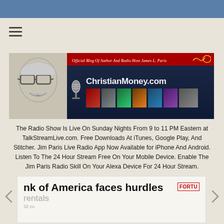[Figure (logo): ChristianMoney.com website banner with author illustration on left, red header bar reading 'Official Blog Of Author And Radio Host James L. Paris', dark blue section with microphone and site name ChristianMoney.com, row of book covers, and photo of man]
The Radio Show Is Live On Sunday Nights From 9 to 11 PM Eastern at TalkStreamLive.com. Free Downloads At iTunes, Google Play, And Stitcher. Jim Paris Live Radio App Now Available for iPhone And Android. Listen To The 24 Hour Stream Free On Your Mobile Device. Enable The Jim Paris Radio Skill On Your Alexa Device For 24 Hour Stream.
[Figure (screenshot): News carousel card showing partial headline 'nk of America faces hurdles' with sub-text 'rentals' and Fortune magazine logo, with left and right navigation arrows]